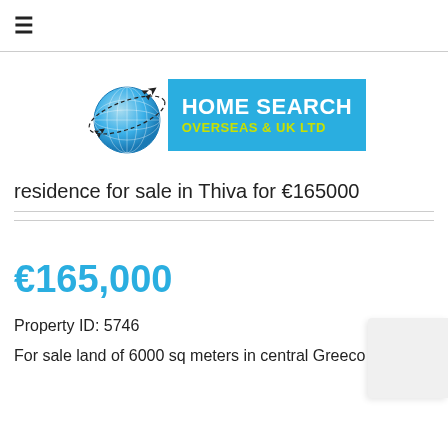≡
[Figure (logo): Home Search Overseas & UK Ltd logo with a globe and an airplane orbiting it, next to a blue rectangle with 'HOME SEARCH' in white and 'OVERSEAS & UK LTD' in yellow-green.]
residence for sale in Thiva for €165000
€165,000
Property ID: 5746
For sale land of 6000 sq meters in central Greeco